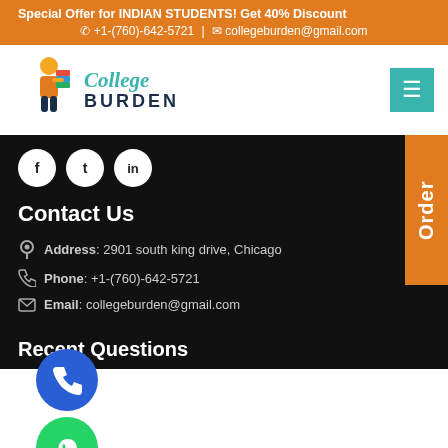Special Offer for INDIAN STUDENTS! Get 40% Discount
+1-(760)-642-5721 | collegeburden@gmail.com
[Figure (logo): College Burden logo with student carrying books]
[Figure (other): Hamburger menu button (teal/green square with three lines)]
[Figure (other): Social media icons: Facebook, Twitter, LinkedIn (white circles on dark background)]
Contact Us
Address: 2901 south king drive, Chicago
Phone: +1-(760)-642-5721
Email: collegeburden@gmail.com
Recent Questions